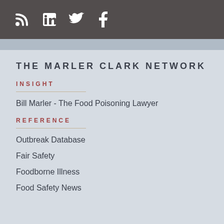Social icons: RSS, LinkedIn, Twitter, Facebook
THE MARLER CLARK NETWORK
INSIGHT
Bill Marler - The Food Poisoning Lawyer
REFERENCE
Outbreak Database
Fair Safety
Foodborne Illness
Food Safety News